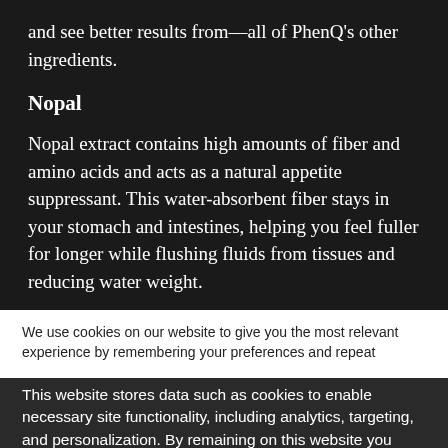and see better results from—all of PhenQ's other ingredients.
Nopal
Nopal extract contains high amounts of fiber and amino acids and acts as a natural appetite suppressant. This water-absorbent fiber stays in your stomach and intestines, helping you feel fuller for longer while flushing fluids from tissues and reducing water weight.
We use cookies on our website to give you the most relevant experience by remembering your preferences and repeat visits. By clicking "Accept All", you consent to the use of ALL the cookies. However, you may visit "Cookie Settings" to provide a controlled consent.
This website stores data such as cookies to enable necessary site functionality, including analytics, targeting, and personalization. By remaining on this website you indicate your consent Cookie Policy